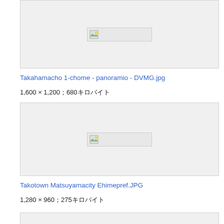[Figure (photo): Broken image placeholder for Takahamacho 1-chome panoramio DVMG.jpg]
Takahamacho 1-chome - panoramio - DVMG.jpg
1,600 × 1,200；680キロバイト
[Figure (photo): Broken image placeholder for Takotown Matsuyamacity Ehimepref.JPG]
Takotown Matsuyamacity Ehimepref.JPG
1,280 × 960；275キロバイト